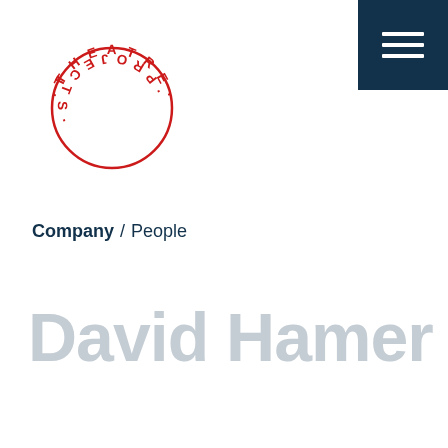[Figure (logo): Theatre Projects circular logo with red text arranged in a circle on white background]
[Figure (other): Dark navy blue navigation menu button with three white horizontal bars (hamburger icon) in top right corner]
Company / People
David Hamer